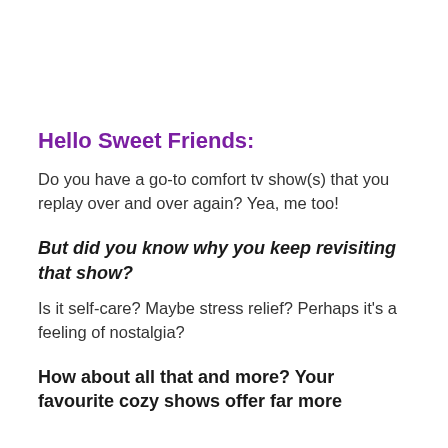Hello Sweet Friends:
Do you have a go-to comfort tv show(s) that you replay over and over again? Yea, me too!
But did you know why you keep revisiting that show?
Is it self-care? Maybe stress relief? Perhaps it's a feeling of nostalgia?
How about all that and more? Your favourite cozy shows offer far more